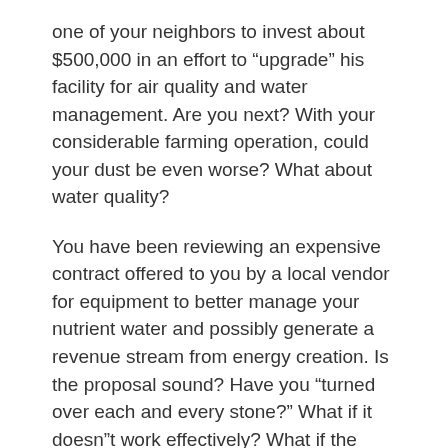one of your neighbors to invest about $500,000 in an effort to “upgrade” his facility for air quality and water management. Are you next? With your considerable farming operation, could your dust be even worse? What about water quality?
You have been reviewing an expensive contract offered to you by a local vendor for equipment to better manage your nutrient water and possibly generate a revenue stream from energy creation. Is the proposal sound? Have you “turned over each and every stone?” What if it doesn“t work effectively? What if the EPA doesn“t like it? Will your banker approve the necessary financing?
4:15 a.m.
Maybe there is something downstairs that will help you sleep or should you just start the coffee?